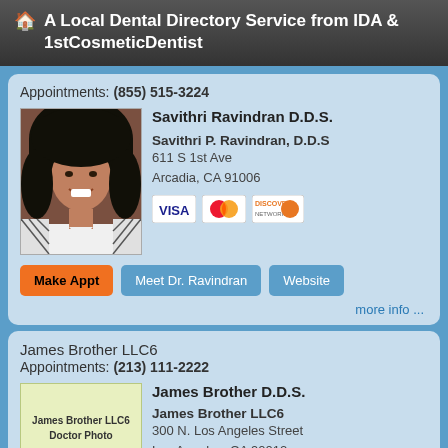🏠 A Local Dental Directory Service from IDA & 1stCosmeticDentist
Appointments: (855) 515-3224
[Figure (photo): Portrait photo of Savithri Ravindran D.D.S., a woman with dark hair, smiling, wearing a white coat with patterned sleeves.]
Savithri Ravindran D.D.S.
Savithri P. Ravindran, D.D.S
611 S 1st Ave
Arcadia, CA 91006
[Figure (other): Payment method icons: VISA, MasterCard, Discover]
Make Appt  Meet Dr. Ravindran  Website
more info ...
James Brother LLC6
Appointments: (213) 111-2222
James Brother D.D.S.
[Figure (photo): Placeholder image with text 'James Brother LLC6 Doctor Photo']
James Brother LLC6
300 N. Los Angeles Street
Los Angeles, CA 90012